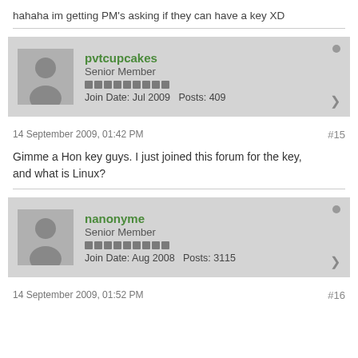hahaha im getting PM's asking if they can have a key XD
pvtcupcakes
Senior Member
Join Date: Jul 2009   Posts: 409
14 September 2009, 01:42 PM
#15
Gimme a Hon key guys. I just joined this forum for the key, and what is Linux?
nanonyme
Senior Member
Join Date: Aug 2008   Posts: 3115
14 September 2009, 01:52 PM
#16